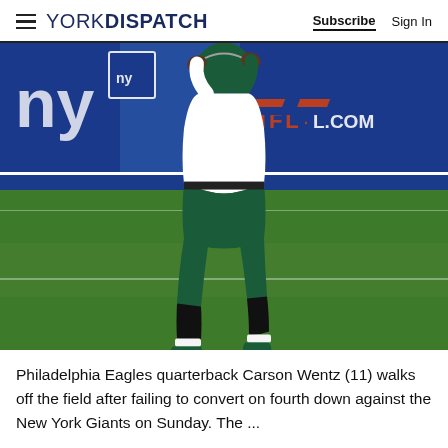YORK DISPATCH | Subscribe | Sign In
[Figure (photo): Philadelphia Eagles quarterback Carson Wentz (11) walking off the football field at MetLife Stadium, hands on helmet, after failing to convert on fourth down against the New York Giants. NY Giants blue stadium signage visible in background.]
Philadelphia Eagles quarterback Carson Wentz (11) walks off the field after failing to convert on fourth down against the New York Giants on Sunday. The ...